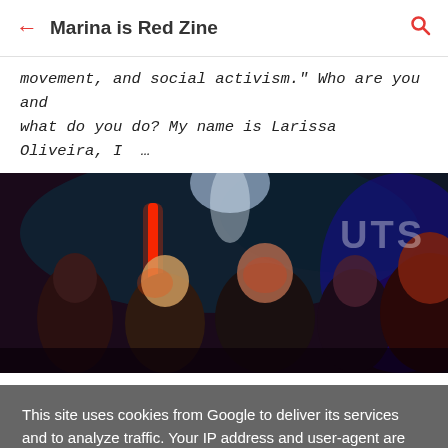Marina is Red Zine
movement, and social activism." Who are you and what do you do? My name is Larissa Oliveira, I …
[Figure (photo): Dark bar/club scene with several people posing for a selfie under red and blue stage lighting. A red vertical light bar is visible on the left. A partial 'OUTS' sign is visible in the background.]
This site uses cookies from Google to deliver its services and to analyze traffic. Your IP address and user-agent are shared with Google along with performance and security metrics to ensure quality of service, generate usage statistics, and to detect and address abuse.
LEARN MORE    OK